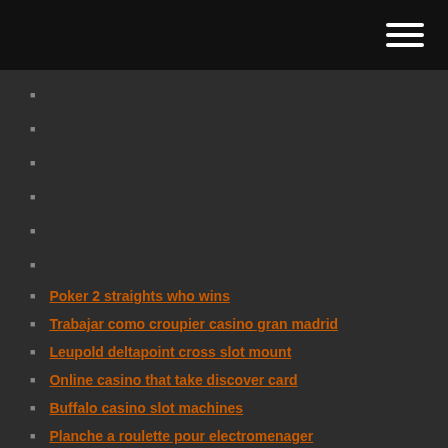[hamburger menu icon]
Poker 2 straights who wins
Trabajar como croupier casino gran madrid
Leupold deltapoint cross slot mount
Online casino that take discover card
Buffalo casino slot machines
Planche a roulette pour electromenager
Team fortress 2 slot tokens
Ignition casino depositing money for bonus then